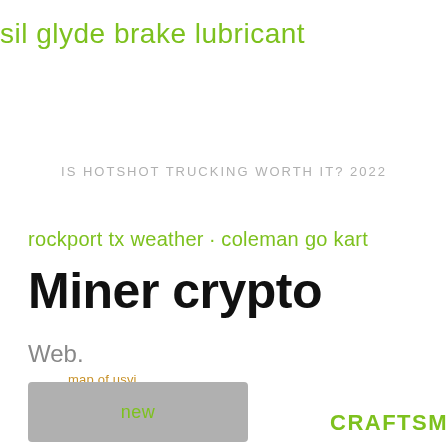sil glyde brake lubricant
IS HOTSHOT TRUCKING WORTH IT? 2022
rockport tx weather · coleman go kart
Miner crypto
Web.
map of usvi
hilton
oil prices
head
CRAFTSMAN BATESVILLE
new